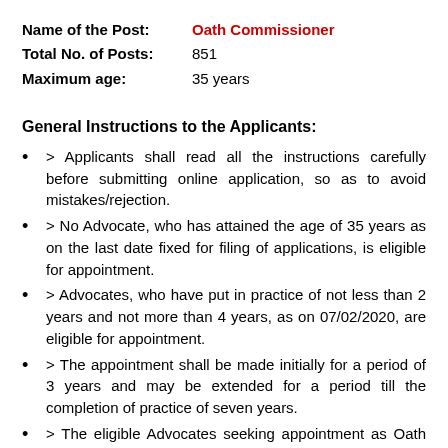Name of the Post: Oath Commissioner
Total No. of Posts: 851
Maximum age: 35 years
General Instructions to the Applicants:
> Applicants shall read all the instructions carefully before submitting online application, so as to avoid mistakes/rejection.
> No Advocate, who has attained the age of 35 years as on the last date fixed for filing of applications, is eligible for appointment.
> Advocates, who have put in practice of not less than 2 years and not more than 4 years, as on 07/02/2020, are eligible for appointment.
> The appointment shall be made initially for a period of 3 years and may be extended for a period till the completion of practice of seven years.
> The eligible Advocates seeking appointment as Oath Commissioners in the District Courts' shall submit their